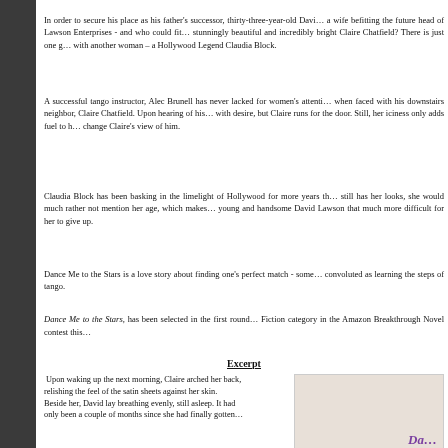In order to secure his place as his father's successor, thirty-three-year-old Davi... a wife befitting the future head of Lawson Enterprises - and who could fit... stunningly beautiful and incredibly bright Claire Chatfield? There is just one g... with another woman – a Hollywood Legend Claudia Block.
A successful tango instructor, Alec Brunell has never lacked for women's attenti... when faced with his downstairs neighbor, Claire Chatfield. Upon hearing of his... with desire, but Claire runs for the door. Still, her iciness only adds fuel to h... change Claire's view of him.
Claudia Block has been basking in the limelight of Hollywood for more years th... still has her looks, she would much rather not mention her age, which makes... young and handsome David Lawson that much more difficult for her to give up.
Dance Me to the Stars is a love story about finding one's perfect match - some... convoluted as learning the steps of tango.
Dance Me to the Stars, has been selected in the first round... Fiction category in the Amazon Breakthrough Novel contest this...
Excerpt
Upon waking up the next morning, Claire arched her back, relishing the feel of the satin sheets against her skin. Beside her, David lay breathing evenly, still asleep. It had only been a couple of months since she had finally gotten...
[Figure (photo): Book cover showing partial title 'Da...' in purple italic text on a light background]